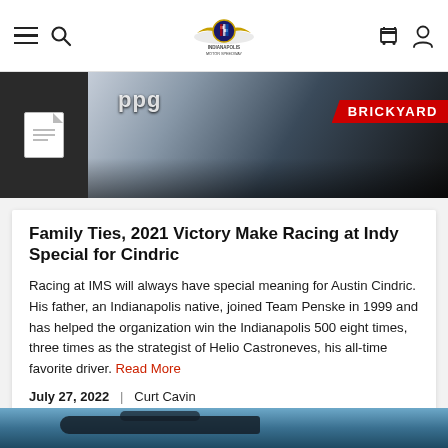Indianapolis Motor Speedway website header navigation
[Figure (photo): Hero image showing Austin Cindric in racing gear with PPG sponsor logo, Brickyard banner in background]
Family Ties, 2021 Victory Make Racing at Indy Special for Cindric
Racing at IMS will always have special meaning for Austin Cindric. His father, an Indianapolis native, joined Team Penske in 1999 and has helped the organization win the Indianapolis 500 eight times, three times as the strategist of Helio Castroneves, his all-time favorite driver. Read More
July 27, 2022  |  Curt Cavin
#TheBrickyard
[Figure (photo): Bottom strip showing a close-up of a race car, partially visible]